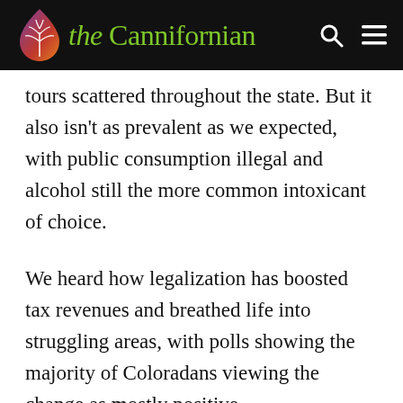the Cannifornian
tours scattered throughout the state. But it also isn't as prevalent as we expected, with public consumption illegal and alcohol still the more common intoxicant of choice.
We heard how legalization has boosted tax revenues and breathed life into struggling areas, with polls showing the majority of Coloradans viewing the change as mostly positive.
But legal marijuana is an ever-evolving experiment. New regulations kicked in even in the days before we arrived. And, four years into their experiment, some Colorado communities remain conflicted over…